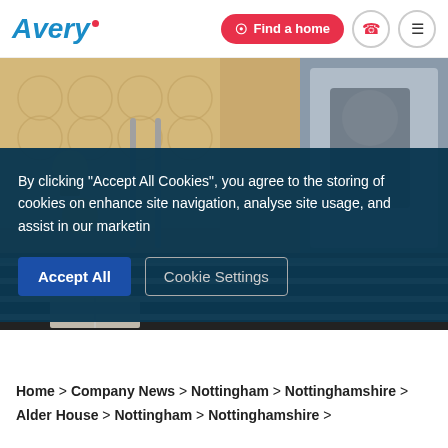Avery — Find a home
[Figure (photo): Interior photo of a care home room with warm lighting, chandelier, and a person lying on a striped bed visible in lower portion]
By clicking "Accept All Cookies", you agree to the storing of cookies on enhance site navigation, analyse site usage, and assist in our marketin
Accept All   Cookie Settings
Home > Company News > Nottingham > Nottinghamshire > Alder House > Nottingham > Nottinghamshire >